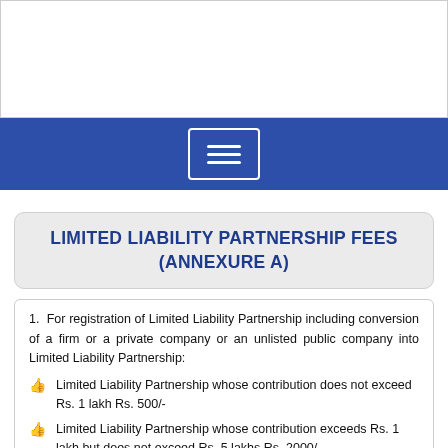[Figure (screenshot): White area representing top of webpage screenshot]
[Figure (screenshot): Blue navigation bar with hamburger menu button (three horizontal lines) centered on it]
LIMITED LIABILITY PARTNERSHIP FEES (ANNEXURE A)
1. For registration of Limited Liability Partnership including conversion of a firm or a private company or an unlisted public company into Limited Liability Partnership:
Limited Liability Partnership whose contribution does not exceed Rs. 1 lakh Rs. 500/-
Limited Liability Partnership whose contribution exceeds Rs. 1 lakh but does not exceed Rs. 5 lakhs Rs. 2000/-